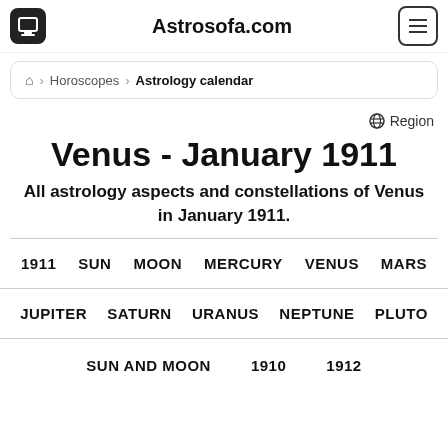Astrosofa.com
Home > Horoscopes > Astrology calendar
Region
Venus - January 1911
All astrology aspects and constellations of Venus in January 1911.
1911  SUN  MOON  MERCURY  VENUS  MARS
JUPITER  SATURN  URANUS  NEPTUNE  PLUTO
SUN AND MOON  1910  1912